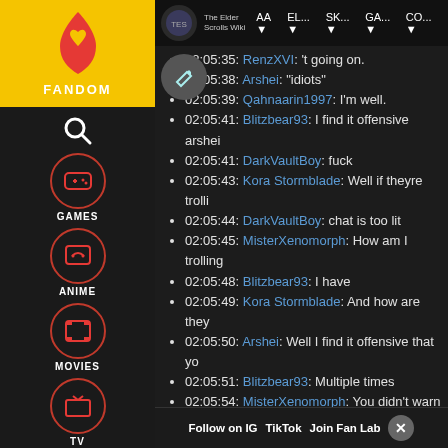[Figure (screenshot): Fandom wiki sidebar with flame logo, FANDOM label, and icons for Games, Anime, Movies, TV, Video, and user profile]
The Elder Scrolls Wiki | navigation bar with AA, EL..., SK..., GA..., CO... menu items
02:05:35: RenzXVI: 't going on.
02:05:38: Arshei: "idiots"
02:05:39: Qahnaarin1997: I'm well.
02:05:41: Blitzbear93: I find it offensive arshei
02:05:41: DarkVaultBoy: fuck
02:05:43: Kora Stormblade: Well if theyre trolli
02:05:44: DarkVaultBoy: chat is too lit
02:05:45: MisterXenomorph: How am I trolling
02:05:48: Blitzbear93: I have
02:05:49: Kora Stormblade: And how are they
02:05:50: Arshei: Well I find it offensive that yo
02:05:51: Blitzbear93: Multiple times
02:05:54: MisterXenomorph: You didn't warn n
02:05:55: DarkVaultBoy: chat is too active
02:05:56: Arshei: If I call you an idiot you woul
02:05:57: Blitzbear93: (partially visible)
02:05:58: NickyVanilly: I m v earnest about vid
Follow on IG | TikTok | Join Fan Lab | X (close)